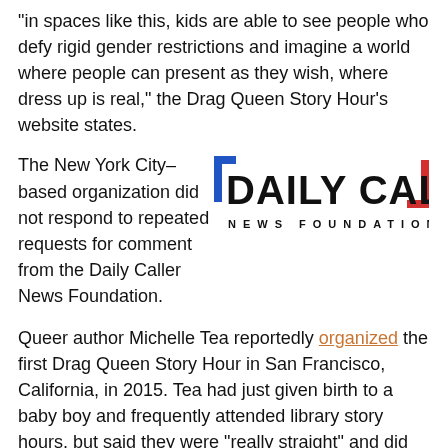“in spaces like this, kids are able to see people who defy rigid gender restrictions and imagine a world where people can present as they wish, where dress up is real,” the Drag Queen Story Hour’s website states.
The New York City–based organization did not respond to repeated requests for comment from the Daily Caller News Foundation.
[Figure (logo): Daily Caller News Foundation logo with blue and red bracket marks and bold text]
Queer author Michelle Tea reportedly organized the first Drag Queen Story Hour in San Francisco, California, in 2015. Tea had just given birth to a baby boy and frequently attended library story hours, but said they were “really straight” and did not properly include her queer family.